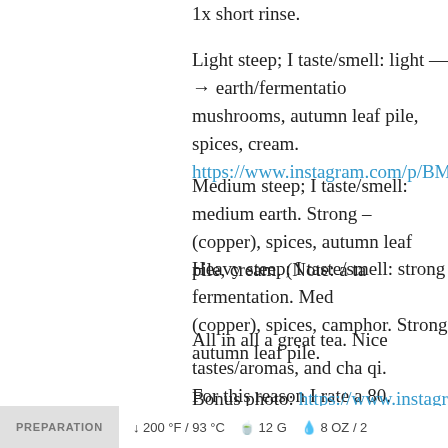1x short rinse.
Light steep; I taste/smell: light —→ earth/fermentation, mushrooms, autumn leaf pile, spices, cream. https://www.instagram.com/p/BMH3CEggaH4/
Medium steep; I taste/smell: medium earth. Strong – (copper), spices, autumn leaf pile, cream. (Note: a ta…
Heavy steep; I taste/smell: strong fermentation. Med (copper), spices, camphor. Strong autumn leaf pile.
All in all a great tea. Nice tastes/aromas, and cha qi. For this reason I rate a 80.
Bonus photo: https://www.instagram.com/p/BMH27b…
Flavors: Autumn Leaf Pile, Camphor, Cream, Earth, Spices
| PREPARATION | 200 °F / 93 °C | 12 G | 8 OZ / 2 |
| --- | --- | --- | --- |